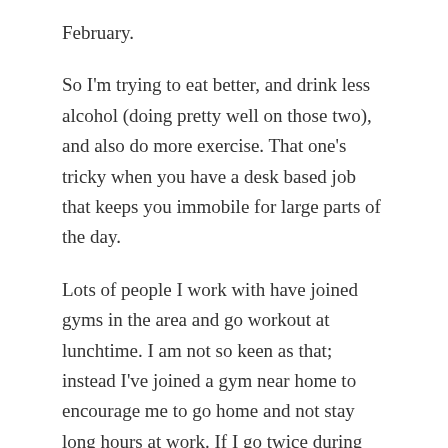February.
So I'm trying to eat better, and drink less alcohol (doing pretty well on those two), and also do more exercise. That one's tricky when you have a desk based job that keeps you immobile for large parts of the day.
Lots of people I work with have joined gyms in the area and go workout at lunchtime. I am not so keen as that; instead I've joined a gym near home to encourage me to go home and not stay long hours at work. If I go twice during the week I am doing well. If I go three times I'm a champion.
But in between gym visits, I'm trying a short and intense workout called “take the stairs”. I come into my office on